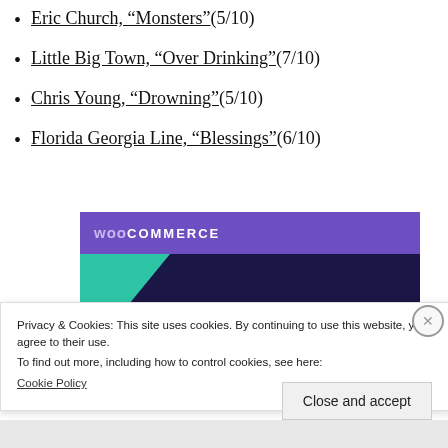Eric Church, "Monsters" (5/10)
Little Big Town, “Over Drinking” (7/10)
Chris Young, “Drowning” (5/10)
Florida Georgia Line, “Blessings” (6/10)
[Figure (screenshot): WooCommerce advertisement banner with dark purple background, teal triangle, cyan circle, and text 'Turn your hobby into a business in 8 steps']
Privacy & Cookies: This site uses cookies. By continuing to use this website, you agree to their use.
To find out more, including how to control cookies, see here:
Cookie Policy
Close and accept